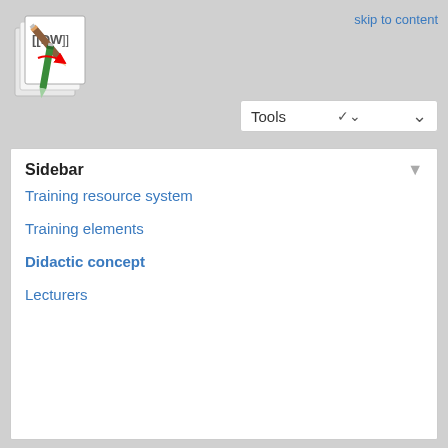[Figure (logo): DokuWiki logo with pencils and paper]
skip to content
Tools ▾
Sidebar
Training resource system
Training elements
Didactic concept
Lecturers